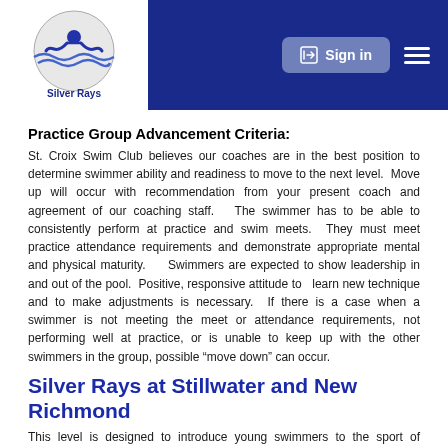Silver Rays Swim Club – Sign in navigation header
Practice Group Advancement Criteria:
St. Croix Swim Club believes our coaches are in the best position to determine swimmer ability and readiness to move to the next level. Move up will occur with recommendation from your present coach and agreement of our coaching staff. The swimmer has to be able to consistently perform at practice and swim meets. They must meet practice attendance requirements and demonstrate appropriate mental and physical maturity. Swimmers are expected to show leadership in and out of the pool. Positive, responsive attitude to learn new technique and to make adjustments is necessary. If there is a case when a swimmer is not meeting the meet or attendance requirements, not performing well at practice, or is unable to keep up with the other swimmers in the group, possible “move down” can occur.
Silver Rays at Stillwater and New Richmond
This level is designed to introduce young swimmers to the sport of swimming while allowing maximum opportunity to participate in other activities. Emphasis is placed on teaching the fundamentals of the four competitive strokes through the use of drills and games